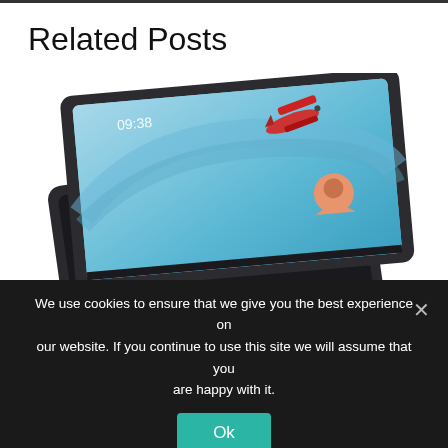Related Posts
[Figure (photo): Lenovo tablet device photographed at an angle, showing home screen with blue sky and biplane wallpaper, with another tablet device visible underneath]
AI vs Human Intelligence: Is all that fear
We use cookies to ensure that we give you the best experience on our website. If you continue to use this site we will assume that you are happy with it.